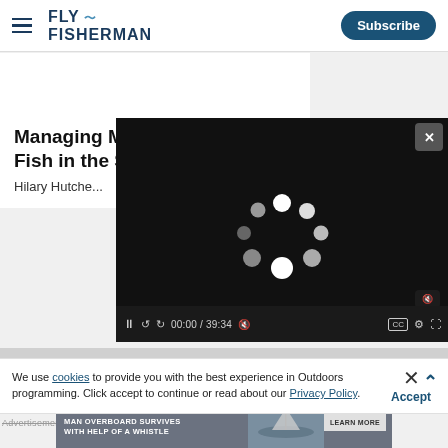FLY FISHERMAN — Subscribe
Managing M... Fish in the S...
Hilary Hutche...
[Figure (screenshot): Embedded video player showing loading spinner, timestamp 00:00 / 39:34, with playback controls including pause, rewind, forward, mute, CC, settings, and fullscreen buttons. A close (X) button appears in the top-right corner.]
We use cookies to provide you with the best experience in Outdoors programming. Click accept to continue or read about our Privacy Policy.
[Figure (photo): Advertisement banner: MIRACLE RESCUE: MAN OVERBOARD SURVIVES WITH HELP OF A WHISTLE — showing a sailing boat photo and LEARN MORE button]